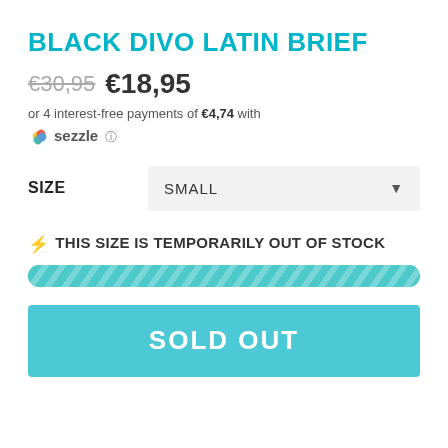BLACK DIVO LATIN BRIEF
€30,95 €18,95
or 4 interest-free payments of €4,74 with ⚡ sezzle ⓘ
SIZE   SMALL
⚡ THIS SIZE IS TEMPORARILY OUT OF STOCK
SOLD OUT